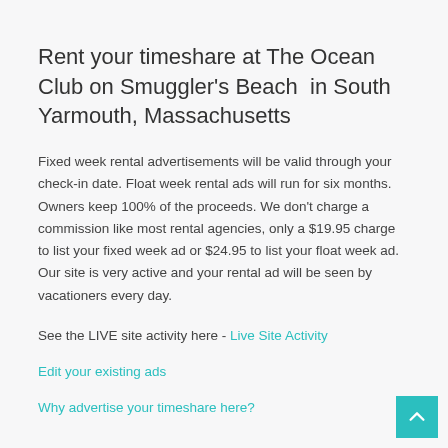Rent your timeshare at The Ocean Club on Smuggler's Beach  in South Yarmouth, Massachusetts
Fixed week rental advertisements will be valid through your check-in date. Float week rental ads will run for six months. Owners keep 100% of the proceeds. We don't charge a commission like most rental agencies, only a $19.95 charge to list your fixed week ad or $24.95 to list your float week ad. Our site is very active and your rental ad will be seen by vacationers every day.
See the LIVE site activity here - Live Site Activity
Edit your existing ads
Why advertise your timeshare here?